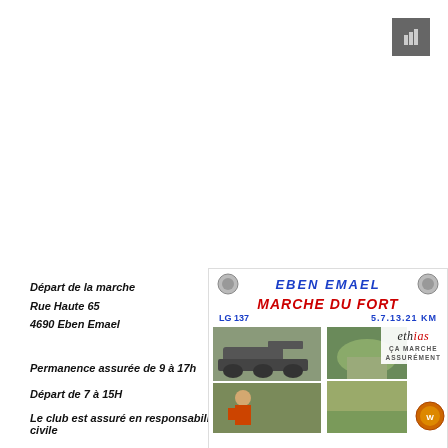[Figure (other): Small dark grey square icon/button in top right corner]
Départ de la marche
Rue Haute 65
4690 Eben Emael
Permanence assurée de 9 à 17h
Départ de 7 à 15H
Le club est assuré en responsabilité civile
[Figure (illustration): Flyer/card for Eben Emael Marche du Fort with photos of tanks and nature scenes. Title in blue italic: EBEN EMAEL. Subtitle in red: MARCHE DU FORT. LG 137 / 5.7.13.21 KM. Ethias logo with text 'ça marche assurément'. Two circular emblems. Photos of military equipment and outdoor scenes.]